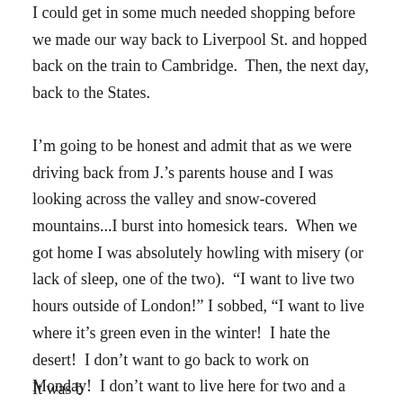I could get in some much needed shopping before we made our way back to Liverpool St. and hopped back on the train to Cambridge.  Then, the next day, back to the States.
I'm going to be honest and admit that as we were driving back from J.'s parents house and I was looking across the valley and snow-covered mountains...I burst into homesick tears.  When we got home I was absolutely howling with misery (or lack of sleep, one of the two).  "I want to live two hours outside of London!" I sobbed, "I want to live where it's green even in the winter!  I hate the desert!  I don't want to go back to work on Monday!  I don't want to live here for two and a half more years while you finish school!  I want my dog!"
It was b     d    ti    d b d d  b d